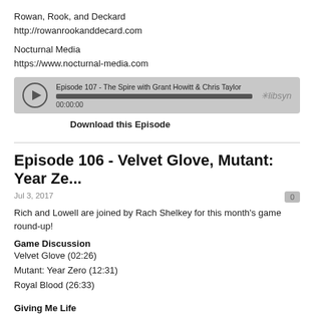Rowan, Rook, and Deckard
http://rowanrookanddecard.com
Nocturnal Media
https://www.nocturnal-media.com
[Figure (other): Audio player widget showing Episode 107 - The Spire with Grant Howitt & Chris Taylor, with play button, progress bar, timestamp 00:00:00, and libsyn logo]
Download this Episode
Episode 106 - Velvet Glove, Mutant: Year Ze...
Jul 3, 2017
Rich and Lowell are joined by Rach Shelkey for this month's game round-up!
Game Discussion
Velvet Glove (02:26)
Mutant: Year Zero (12:31)
Royal Blood (26:33)
Giving Me Life
Gauntlet Con 2017 Announcement (38:00)